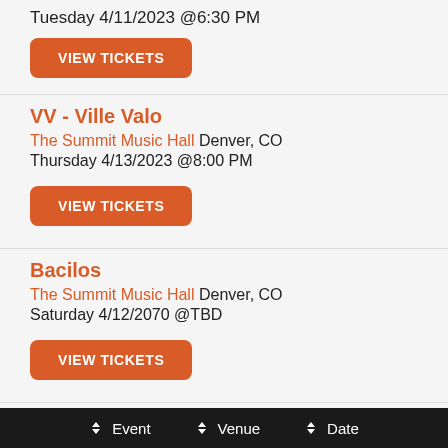Tuesday 4/11/2023 @6:30 PM
VIEW TICKETS
VV - Ville Valo
The Summit Music Hall Denver, CO
Thursday 4/13/2023 @8:00 PM
VIEW TICKETS
Bacilos
The Summit Music Hall Denver, CO
Saturday 4/12/2070 @TBD
VIEW TICKETS
Mudhoney & Meat Puppets
Event   Venue   Date